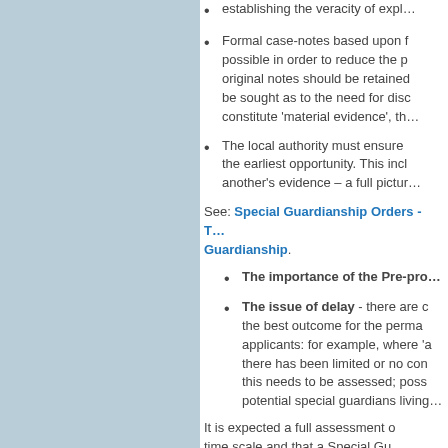establishing the veracity of expl…
Formal case-notes based upon h… possible in order to reduce the p… original notes should be retained… be sought as to the need for disc… constitute 'material evidence', th…
The local authority must ensure … the earliest opportunity. This incl… another's evidence – a full pictur…
See: Special Guardianship Orders - T… Guardianship.
The importance of the Pre-pro…
The issue of delay - there are c… the best outcome for the perma… applicants: for example, where 'a… there has been limited or no con… this needs to be assessed; poss… potential special guardians living…
It is expected a full assessment … time scale and that a Special Gu… the initial Application. However, c… Timetabling and timescale for… Council):